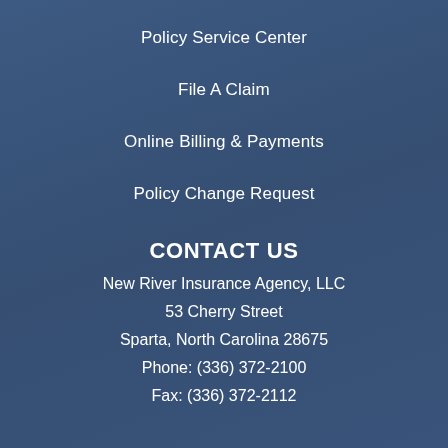Policy Service Center
File A Claim
Online Billing & Payments
Policy Change Request
CONTACT US
New River Insurance Agency, LLC
53 Cherry Street
Sparta, North Carolina 28675
Phone: (336) 372-2100
Fax: (336) 372-2112